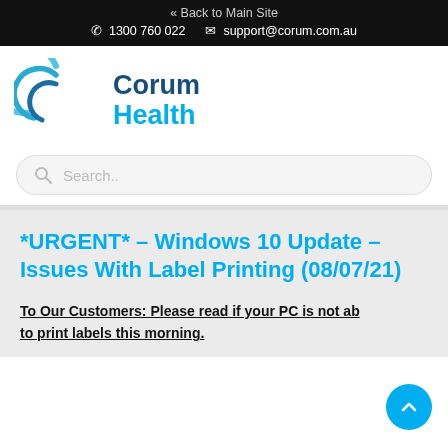« Back to Main Site   📞 1300 760 022   ✉ support@corum.com.au
[Figure (logo): Corum Health logo with blue C spiral icon and 'Corum Health' text in dark blue and cyan]
Search..
*URGENT* – Windows 10 Update – Issues With Label Printing (08/07/21)
To Our Customers: Please read if your PC is not able to print labels this morning.